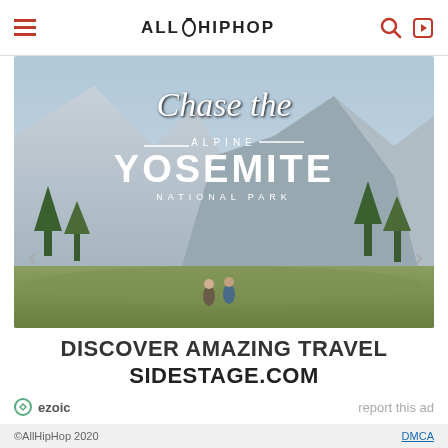AllHipHop — navigation header with hamburger menu, logo, search and login icons
[Figure (photo): Advertisement banner for Sidestage.com showing Yosemite National Park mountain landscape with text 'Chase the ALPINE YOSEMITE NATIONAL PARK'. Two hikers walking through a meadow with dramatic granite cliffs in background.]
DISCOVER AMAZING TRAVEL SIDESTAGE.COM
ezoic   report this ad
©AllHipHop 2020   DMCA
[Figure (screenshot): Bottom ad banner for Cheryl's Cookie Delivery showing cookie/brownie image, headline 'Cheryl's: Cookie Delivery', description 'gourmet brownies, cakes, cookies and cookie gift baskets', URL 'www.cheryls.com', with close button X and forward navigation arrow button.]